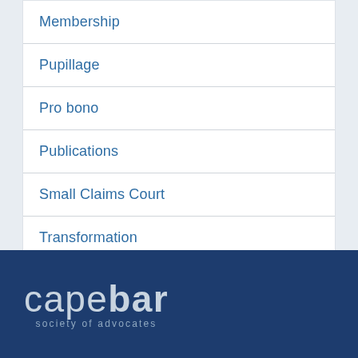Membership
Pupillage
Pro bono
Publications
Small Claims Court
Transformation
[Figure (logo): Cape Bar Society of Advocates logo — text 'capebar' in large light-weight letters with 'society of advocates' below, on dark navy background]